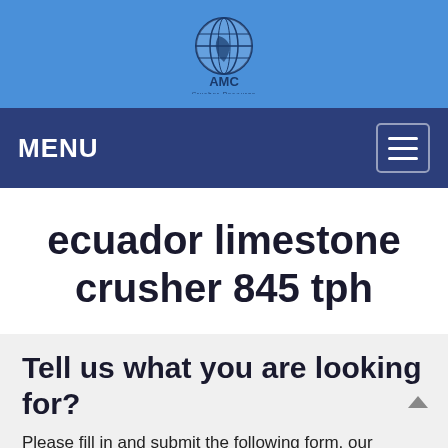[Figure (logo): AMC crusher logo with globe icon and text 'AMC' above 'Crusher Resource' on a blue background]
MENU
ecuador limestone crusher 845 tph
Tell us what you are looking for?
Please fill in and submit the following form, our service team will contact you as soon as possible and provide a complete solution.